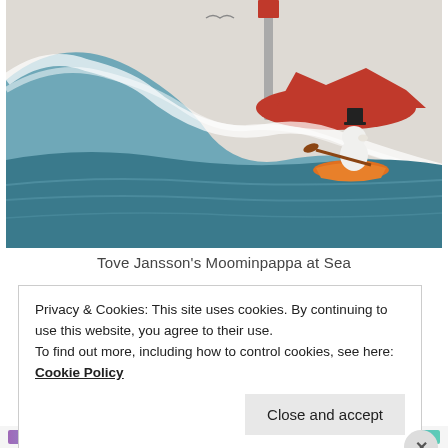[Figure (illustration): Illustration of Moominpappa at Sea — a Moomin character in a black hat rowing a small orange boat on large swelling teal and white waves, with a red rocky island and a lighthouse in the background, and a seagull flying above.]
Tove Jansson's Moominpappa at Sea
Privacy & Cookies: This site uses cookies. By continuing to use this website, you agree to their use.
To find out more, including how to control cookies, see here:
Cookie Policy
Close and accept